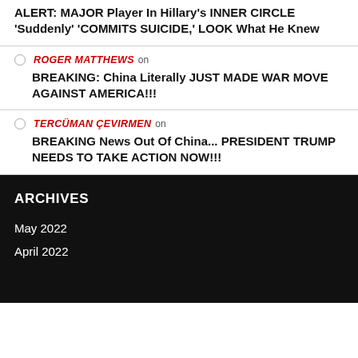ALERT: MAJOR Player In Hillary's INNER CIRCLE 'Suddenly' 'COMMITS SUICIDE,' LOOK What He Knew
ROGER MATTHEWS on BREAKING: China Literally JUST MADE WAR MOVE AGAINST AMERICA!!!
TERCÜMAN ÇEVIRMEN on BREAKING News Out Of China... PRESIDENT TRUMP NEEDS TO TAKE ACTION NOW!!!
ARCHIVES
May 2022
April 2022